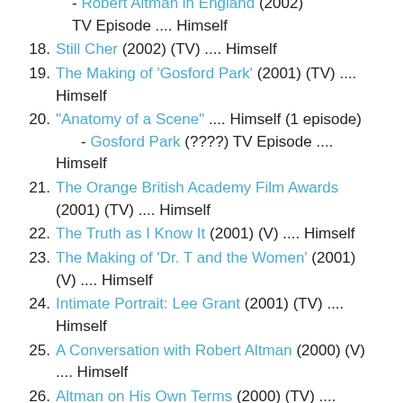- Robert Altman in England (2002) TV Episode .... Himself
18. Still Cher (2002) (TV) .... Himself
19. The Making of 'Gosford Park' (2001) (TV) .... Himself
20. "Anatomy of a Scene" .... Himself (1 episode) - Gosford Park (????) TV Episode .... Himself
21. The Orange British Academy Film Awards (2001) (TV) .... Himself
22. The Truth as I Know It (2001) (V) .... Himself
23. The Making of 'Dr. T and the Women' (2001) (V) .... Himself
24. Intimate Portrait: Lee Grant (2001) (TV) .... Himself
25. A Conversation with Robert Altman (2000) (V) .... Himself
26. Altman on His Own Terms (2000) (TV) ....